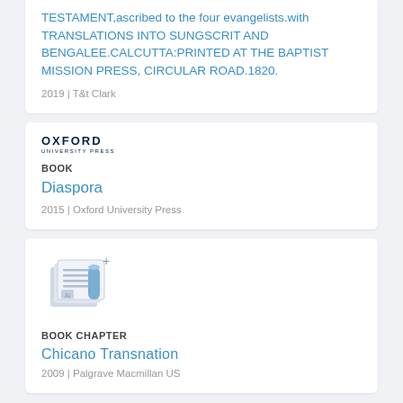TESTAMENT,ascribed to the four evangelists.with TRANSLATIONS INTO SUNGSCRIT AND BENGALEE.CALCUTTA:PRINTED AT THE BAPTIST MISSION PRESS, CIRCULAR ROAD.1820.
2019 | T&t Clark
[Figure (logo): Oxford University Press logo with 'OXFORD' in bold capitals and 'UNIVERSITY PRESS' in small text below]
BOOK
Diaspora
2015 | Oxford University Press
[Figure (illustration): Generic book/document icon with a small plus sign, showing stacked pages and a document symbol]
BOOK CHAPTER
Chicano Transnation
2009 | Palgrave Macmillan US